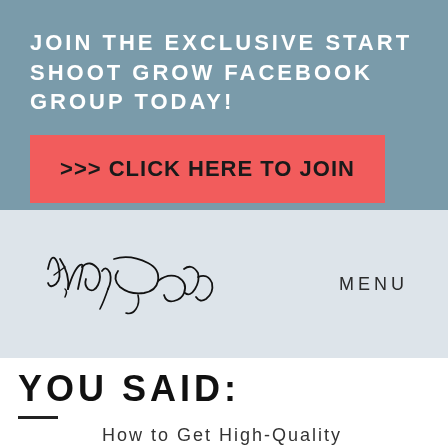JOIN THE EXCLUSIVE START SHOOT GROW FACEBOOK GROUP TODAY!
>>> CLICK HERE TO JOIN
[Figure (illustration): Kayli Barclay signature in cursive handwriting]
MENU
YOU SAID:
How to Get High-Quality